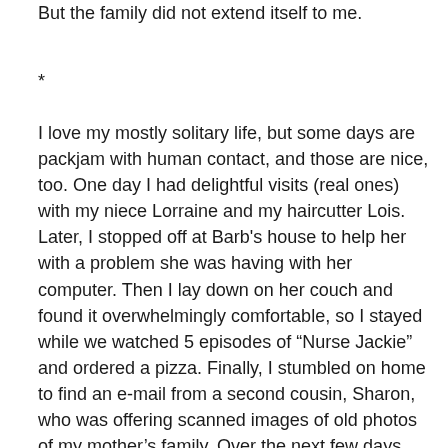But the family did not extend itself to me.
*
I love my mostly solitary life, but some days are packjam with human contact, and those are nice, too. One day I had delightful visits (real ones) with my niece Lorraine and my haircutter Lois. Later, I stopped off at Barb’s house to help her with a problem she was having with her computer. Then I lay down on her couch and found it overwhelmingly comfortable, so I stayed while we watched 5 episodes of “Nurse Jackie” and ordered a pizza. Finally, I stumbled on home to find an e-mail from a second cousin, Sharon, who was offering scanned images of old photos of my mother’s family. Over the next few days, we corresponded about the photos and traded family stories. It was slightly disconcerting to realize that I had never